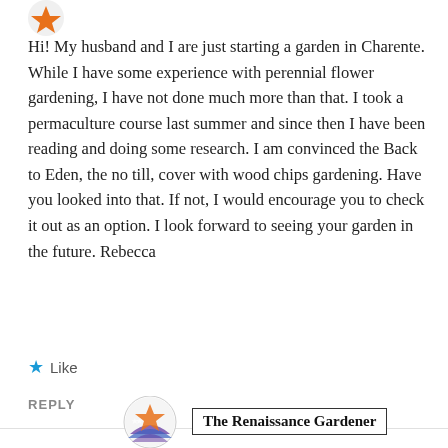[Figure (logo): Small orange avatar/icon in top left corner]
Hi! My husband and I are just starting a garden in Charente. While I have some experience with perennial flower gardening, I have not done much more than that. I took a permaculture course last summer and since then I have been reading and doing some research. I am convinced the Back to Eden, the no till, cover with wood chips gardening. Have you looked into that. If not, I would encourage you to check it out as an option. I look forward to seeing your garden in the future. Rebecca
★ Like
REPLY
[Figure (logo): Circular avatar with blue/purple decorative pattern at bottom of page]
The Renaissance Gardener